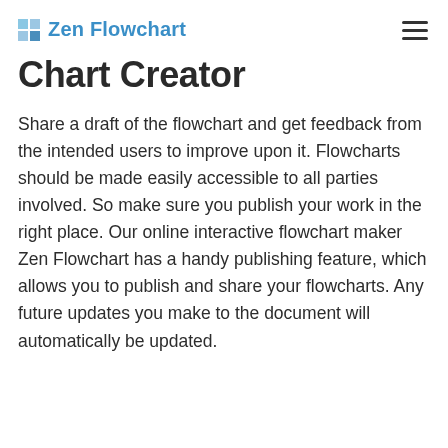Zen Flowchart
Chart Creator
Share a draft of the flowchart and get feedback from the intended users to improve upon it. Flowcharts should be made easily accessible to all parties involved. So make sure you publish your work in the right place. Our online interactive flowchart maker Zen Flowchart has a handy publishing feature, which allows you to publish and share your flowcharts. Any future updates you make to the document will automatically be updated.